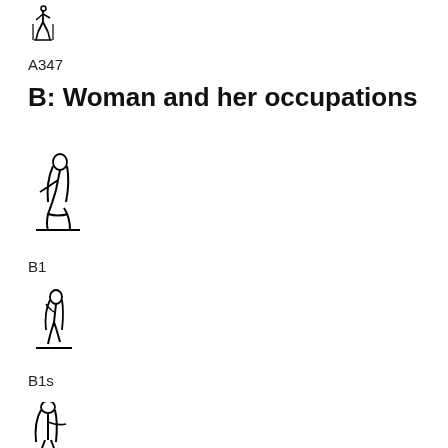[Figure (illustration): Egyptian hieroglyph at top left, small figure resembling a standing human form (A347 glyph)]
A347
B: Woman and her occupations
[Figure (illustration): Egyptian hieroglyph B1 — kneeling woman figure with head bowed forward]
B1
[Figure (illustration): Egyptian hieroglyph B1s — smaller seated woman figure]
B1s
[Figure (illustration): Egyptian hieroglyph at bottom — standing woman figure, partial view]